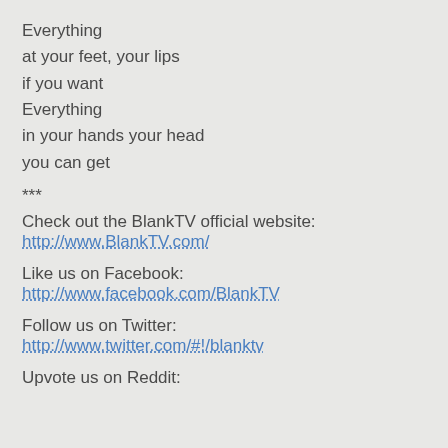Everything
at your feet, your lips
if you want
Everything
in your hands your head
you can get
***
Check out the BlankTV official website:
http://www.BlankTV.com/
Like us on Facebook:
http://www.facebook.com/BlankTV
Follow us on Twitter:
http://www.twitter.com/#!/blanktv
Upvote us on Reddit: